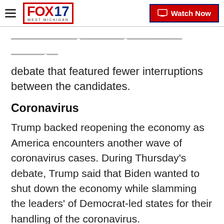FOX 17 WEST MICHIGAN | Watch Now
…debate that featured fewer interruptions between the candidates.
Coronavirus
Trump backed reopening the economy as America encounters another wave of coronavirus cases. During Thursday's debate, Trump said that Biden wanted to shut down the economy while slamming the leaders' of Democrat-led states for their handling of the coronavirus.
Recent Stories from fox17online.com
[Figure (photo): Video thumbnail showing crowd in stadium bleachers with 'Top Videos' label overlay]